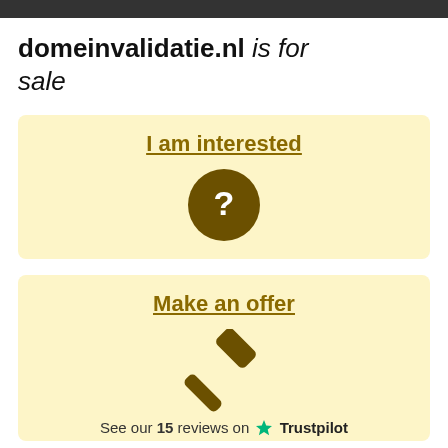domeinvalidatie.nl is for sale
I am interested
[Figure (illustration): Brown circle with white question mark inside]
Make an offer
[Figure (illustration): Brown gavel/hammer icon]
See our 15 reviews on Trustpilot